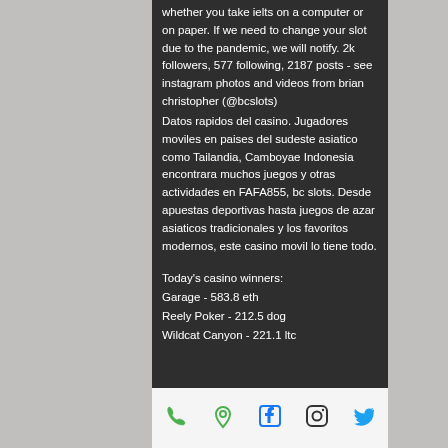whether you take ielts on a computer or on paper. If we need to change your slot due to the pandemic, we will notify. 2k followers, 577 following, 2187 posts - see instagram photos and videos from brian christopher (@bcslots)
Datos rapidos del casino. Jugadores moviles en paises del sudeste asiatico como Tailandia, Camboyae Indonesia encontrara muchos juegos y otras actividades en FAFA855, bc slots. Desde apuestas deportivas hasta juegos de azar asiaticos tradicionales y los favoritos modernos, este casino movil lo tiene todo.
Today's casino winners:
Garage - 583.8 eth
Reely Poker - 212.5 dog
Wildcat Canyon - 221.1 ltc
[phone] [map] [facebook] [instagram] [twitter]